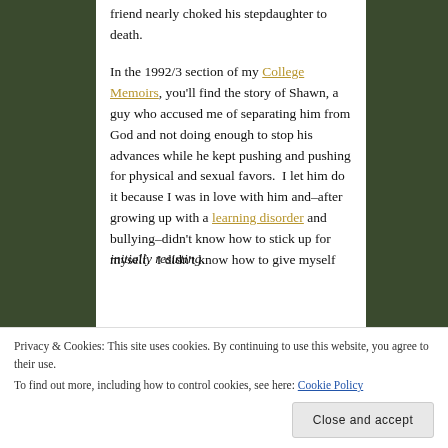friend nearly choked his stepdaughter to death.
In the 1992/3 section of my College Memoirs, you'll find the story of Shawn, a guy who accused me of separating him from God and not doing enough to stop his advances while he kept pushing and pushing for physical and sexual favors. I let him do it because I was in love with him and–after growing up with a learning disorder and bullying–didn't know how to stick up for myself. I didn't know how to give myself
initially resisting.
Privacy & Cookies: This site uses cookies. By continuing to use this website, you agree to their use.
To find out more, including how to control cookies, see here: Cookie Policy
Close and accept